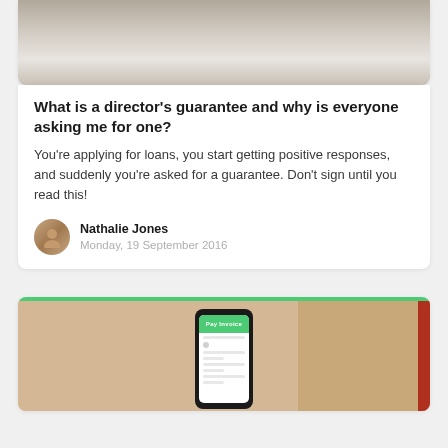[Figure (photo): Top portion of a photo showing a person in a white shirt at a cafe table with coffee]
What is a director's guarantee and why is everyone asking me for one?
You're applying for loans, you start getting positive responses, and suddenly you're asked for a guarantee. Don't sign until you read this!
Nathalie Jones
Monday, 19 September 2016
[Figure (photo): Photo of a smartphone with a Pay Invoice screen displayed, resting on a tan/brown notebook]